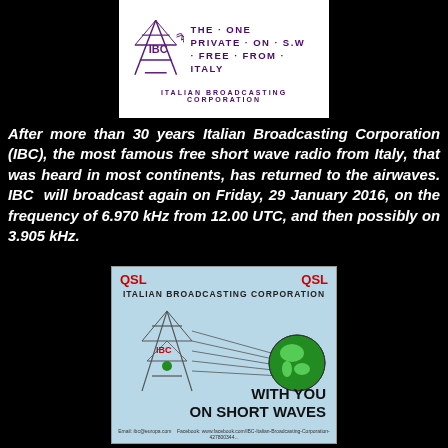[Figure (logo): IBC Italian Broadcasting Corporation logo — white box with antenna graphic, text 'THE ONE PRIVATE ON S.W. FREE FROM ITALY' and 'ITALIAN BROADCASTING CORPORATION']
After more than 30 years Italian Broadcasting Corporation (IBC), the most famous free short wave radio from Italy, that was heard in most continents, has returned to the airwaves. IBC will broadcast again on Friday, 29 January 2016, on the frequency of 6.970 kHz from 12.00 UTC, and then possibly on 3.905 kHz.
[Figure (illustration): IBC QSL card — light blue background with antenna broadcasting to globe, text 'QSL' in red on both sides, 'ITALIAN BROADCASTING CORPORATION', 'WITH YOU ON SHORT WAVES']